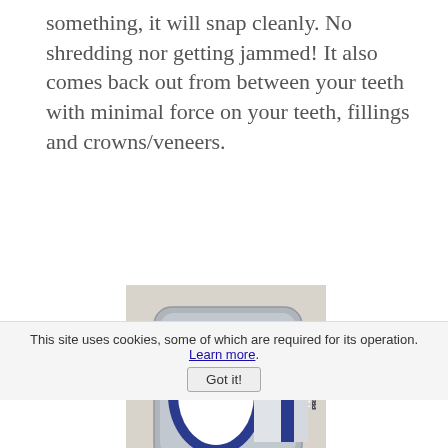something, it will snap cleanly. No shredding nor getting jammed! It also comes back out from between your teeth with minimal force on your teeth, fillings and crowns/veneers.
[Figure (photo): Oral-B Pro-Expert Premium Floss Cool Mint 40m dental floss container, silver/grey rounded square plastic case with blue Oral-B logo and blue label stripe, photographed on a textured white surface from above]
This site uses cookies, some of which are required for its operation. Learn more.